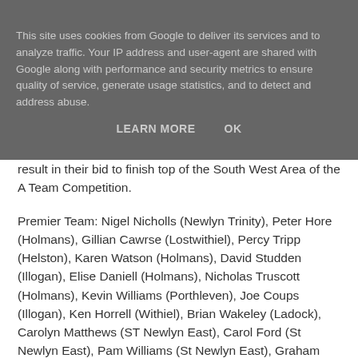This site uses cookies from Google to deliver its services and to analyze traffic. Your IP address and user-agent are shared with Google along with performance and security metrics to ensure quality of service, generate usage statistics, and to detect and address abuse.
LEARN MORE   OK
result in their bid to finish top of the South West Area of the A Team Competition.
Premier Team: Nigel Nicholls (Newlyn Trinity), Peter Hore (Holmans), Gillian Cawrse (Lostwithiel), Percy Tripp (Helston), Karen Watson (Holmans), David Studden (Illogan), Elise Daniell (Holmans), Nicholas Truscott (Holmans), Kevin Williams (Porthleven), Joe Coups (Illogan), Ken Horrell (Withiel), Brian Wakeley (Ladock), Carolyn Matthews (ST Newlyn East), Carol Ford (St Newlyn East), Pam Williams (St Newlyn East), Graham Ford (St Newlyn East), Roy Christophers (Helston), Graham Luke (Ladock), Ronald Thomas (Newlyn Trinity) & Chris Roberts (Ladock),